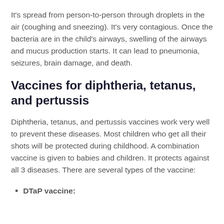It's spread from person-to-person through droplets in the air (coughing and sneezing). It's very contagious. Once the bacteria are in the child's airways, swelling of the airways and mucus production starts. It can lead to pneumonia, seizures, brain damage, and death.
Vaccines for diphtheria, tetanus, and pertussis
Diphtheria, tetanus, and pertussis vaccines work very well to prevent these diseases. Most children who get all their shots will be protected during childhood. A combination vaccine is given to babies and children. It protects against all 3 diseases. There are several types of the vaccine:
DTaP vaccine: